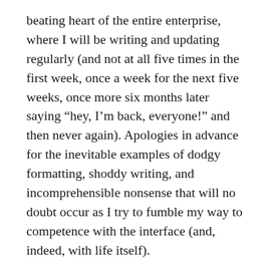beating heart of the entire enterprise, where I will be writing and updating regularly (and not at all five times in the first week, once a week for the next five weeks, once more six months later saying “hey, I’m back, everyone!” and then never again). Apologies in advance for the inevitable examples of dodgy formatting, shoddy writing, and incomprehensible nonsense that will no doubt occur as I try to fumble my way to competence with the interface (and, indeed, with life itself).
I’ll be bringing you the latest news about my work, of course – new books, new editions, new translations, public appearances even – straight from the horse’s mouth, as it were.